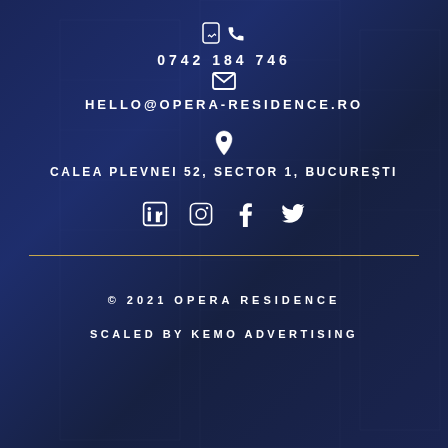☎
0742 184 746
✉
HELLO@OPERA-RESIDENCE.RO
📍
CALEA PLEVNEI 52, SECTOR 1, BUCUREȘTI
[Figure (infographic): Social media icons: LinkedIn, Instagram, Facebook, Twitter]
© 2021 OPERA RESIDENCE
SCALED BY KEMO ADVERTISING